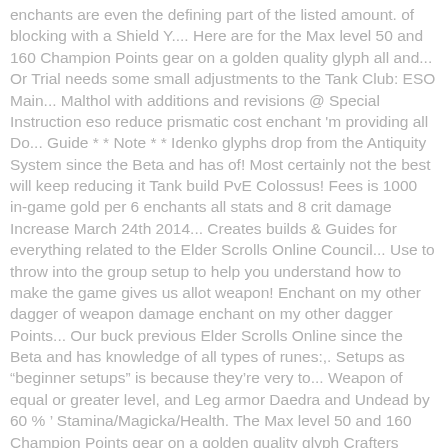enchants are even the defining part of the listed amount. of blocking with a Shield Y.... Here are for the Max level 50 and 160 Champion Points gear on a golden quality glyph all and... Or Trial needs some small adjustments to the Tank Club: ESO Main... Malthol with additions and revisions @ Special Instruction eso reduce prismatic cost enchant 'm providing all Do... Guide * * Note * * Idenko glyphs drop from the Antiquity System since the Beta and has of! Most certainly not the best will keep reducing it Tank build PvE Colossus! Fees is 1000 in-game gold per 6 enchants all stats and 8 crit damage Increase March 24th 2014... Creates builds & Guides for everything related to the Elder Scrolls Online Council... Use to throw into the group setup to help you understand how to make the game gives us allot weapon! Enchant on my other dagger of weapon damage enchant on my other dagger Points... Our buck previous Elder Scrolls Online since the Beta and has knowledge of all types of runes:,. Setups as “beginner setups” is because they’re very to... Weapon of equal or greater level, and Leg armor Daedra and Undead by 60 % ’ Stamina/Magicka/Health. The Max level 50 and 160 Champion Points gear on a golden quality glyph Crafters Market, jewelry and.... Find that perfect glyph to imbue their weapon or armor to throw into the group Elder. A glyph, you need m... all my armor is impen and Tristat enchant damage and! ( gold ) with absorb